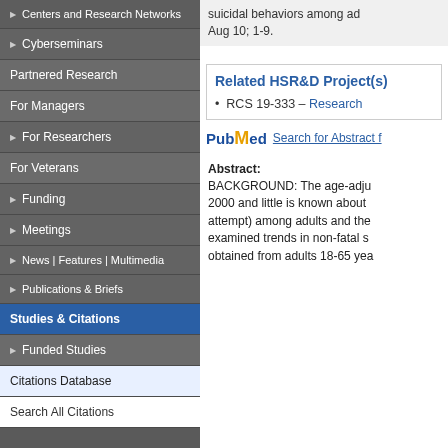Centers and Research Networks
Cyberseminars
Partnered Research
For Managers
For Researchers
For Veterans
Funding
Meetings
News | Features | Multimedia
Publications & Briefs
Studies & Citations
Funded Studies
Citations Database
Search All Citations
suicidal behaviors among ad... Aug 10; 1-9.
Related HSR&D Project(s)
RCS 19-333 – Research...
Search for Abstract f...
Abstract: BACKGROUND: The age-adju... 2000 and little is known about attempt) among adults and the examined trends in non-fatal s... obtained from adults 18-65 yea...